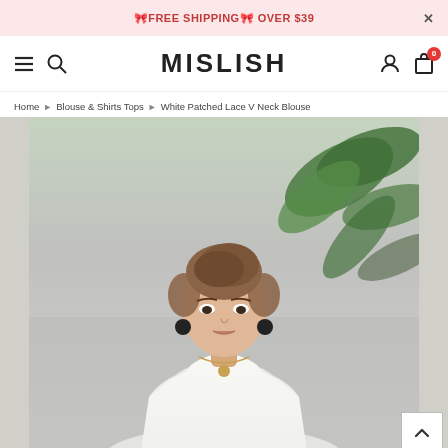🎀FREE SHIPPING🎀 OVER $39
MISLISH
Home ▶ Blouse & Shirts Tops ▶ White Patched Lace V Neck Blouse
[Figure (photo): Fashion product photo of a young woman wearing a white lace V-neck blouse, with tropical plant leaves in the background]